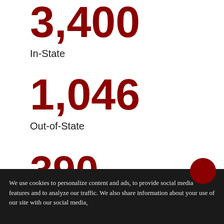3,400
In-State
1,046
Out-of-State
390
International
We use cookies to personalize content and ads, to provide social media features and to analyze our traffic. We also share information about your use of our site with our social media,